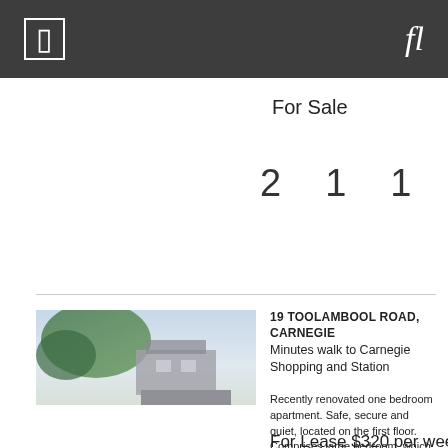For Sale
2  1  1
[Figure (photo): Exterior photo of apartment building with trees and sky]
19 TOOLAMBOOL ROAD, CARNEGIE
Minutes walk to Carnegie Shopping and Station
Recently renovated one bedroom apartment. Safe, secure and quiet, located on the first floor. Comprises large bedroom, which could easily fit a king-sized bed. Separate kitchen with meals area and natural gas cooktop, oven and range hood. Lots of s Learn More
For Lease $320 per week